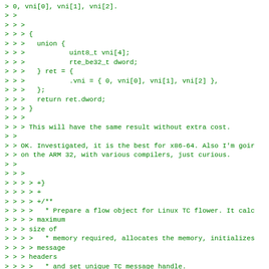> 0, vni[0], vni[1], vni[2].
> >
> > >
> > > {
> > >   union {
> > >           uint8_t vni[4];
> > >           rte_be32_t dword;
> > >   } ret = {
> > >           .vni = { 0, vni[0], vni[1], vni[2] },
> > >   };
> > >   return ret.dword;
> > > }
> > >
> > > This will have the same result without extra cost.
> >
> > OK. Investigated, it is the best for x86-64. Also I'm goir
> > on the ARM 32, with various compilers, just curious.
> >
> > >
> > > > +}
> > > > +
> > > > +/**
> > > >   * Prepare a flow object for Linux TC flower. It calc
> > > > maximum
> > > size of
> > > >   * memory required, allocates the memory, initializes
> > > > message
> > > headers
> > > >   * and set unique TC message handle.
> > > > @@ -2323,22 +2632,54 @@ struct pedit_parser {
> > > >         struct mlx5_flow *dev_flow;
> > > >         struct nlmsghdr *nlh;